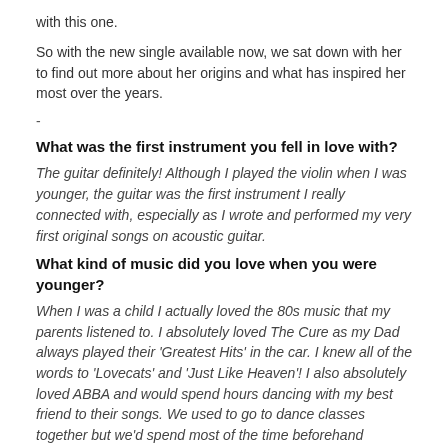with this one.
So with the new single available now, we sat down with her to find out more about her origins and what has inspired her most over the years.
-
What was the first instrument you fell in love with?
The guitar definitely! Although I played the violin when I was younger, the guitar was the first instrument I really connected with, especially as I wrote and performed my very first original songs on acoustic guitar.
What kind of music did you love when you were younger?
When I was a child I actually loved the 80s music that my parents listened to. I absolutely loved The Cure as my Dad always played their 'Greatest Hits' in the car. I knew all of the words to 'Lovecats' and 'Just Like Heaven'! I also absolutely loved ABBA and would spend hours dancing with my best friend to their songs. We used to go to dance classes together but we'd spend most of the time beforehand